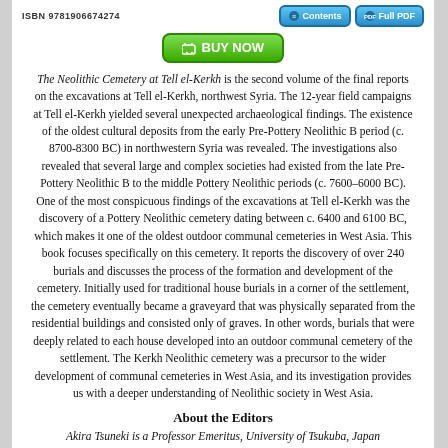ISBN 9781906674274
The Neolithic Cemetery at Tell el-Kerkh is the second volume of the final reports on the excavations at Tell el-Kerkh, northwest Syria. The 12-year field campaigns at Tell el-Kerkh yielded several unexpected archaeological findings. The existence of the oldest cultural deposits from the early Pre-Pottery Neolithic B period (c. 8700-8300 BC) in northwestern Syria was revealed. The investigations also revealed that several large and complex societies had existed from the late Pre-Pottery Neolithic B to the middle Pottery Neolithic periods (c. 7600–6000 BC). One of the most conspicuous findings of the excavations at Tell el-Kerkh was the discovery of a Pottery Neolithic cemetery dating between c. 6400 and 6100 BC, which makes it one of the oldest outdoor communal cemeteries in West Asia. This book focuses specifically on this cemetery. It reports the discovery of over 240 burials and discusses the process of the formation and development of the cemetery. Initially used for traditional house burials in a corner of the settlement, the cemetery eventually became a graveyard that was physically separated from the residential buildings and consisted only of graves. In other words, burials that were deeply related to each house developed into an outdoor communal cemetery of the settlement. The Kerkh Neolithic cemetery was a precursor to the wider development of communal cemeteries in West Asia, and its investigation provides us with a deeper understanding of Neolithic society in West Asia.
About the Editors
Akira Tsuneki is a Professor Emeritus, University of Tsukuba, Japan